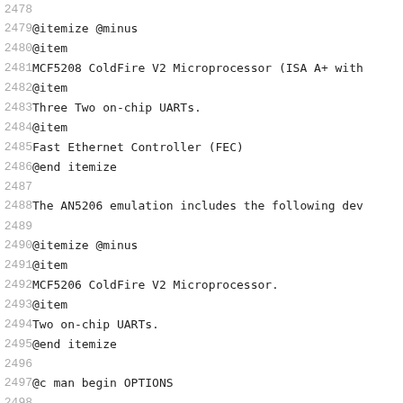2478  
2479   @itemize @minus
2480   @item
2481   MCF5208 ColdFire V2 Microprocessor (ISA A+ with
2482   @item
2483   Three Two on-chip UARTs.
2484   @item
2485   Fast Ethernet Controller (FEC)
2486   @end itemize
2487  
2488   The AN5206 emulation includes the following dev
2489  
2490   @itemize @minus
2491   @item
2492   MCF5206 ColdFire V2 Microprocessor.
2493   @item
2494   Two on-chip UARTs.
2495   @end itemize
2496  
2497   @c man begin OPTIONS
2498